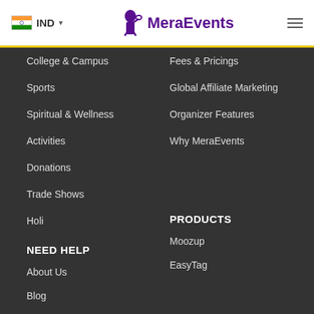IND — MeraEvents navigation header
College & Campus
Fees & Pricings
Sports
Global Affiliate Marketing
Spiritual & Wellness
Organizer Features
Activities
Why MeraEvents
Donations
Trade Shows
Holi
NEED HELP
PRODUCTS
About Us
Moozup
Blog
EasyTag